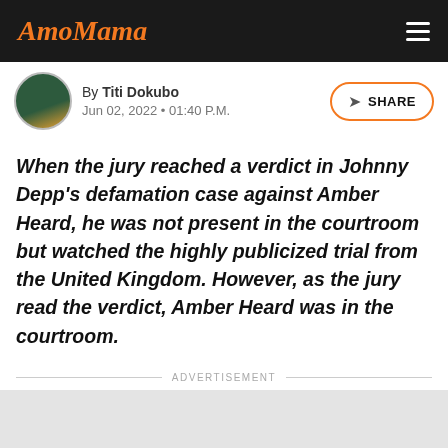AmoMama
By Titi Dokubo
Jun 02, 2022 • 01:40 P.M.
When the jury reached a verdict in Johnny Depp's defamation case against Amber Heard, he was not present in the courtroom but watched the highly publicized trial from the United Kingdom. However, as the jury read the verdict, Amber Heard was in the courtroom.
ADVERTISEMENT